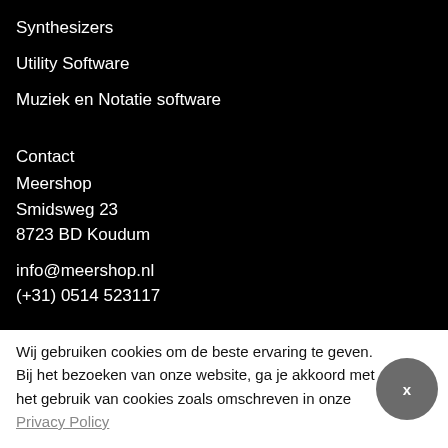Synthesizers
Utility Software
Muziek en Notatie software
Contact
Meershop
Smidsweg 23
8723 BD Koudum
info@meershop.nl
(+31) 0514 523117
Over Ons
Wij gebruiken cookies om de beste ervaring te geven. Bij het bezoeken van onze website, ga je akkoord met het gebruik van cookies zoals omschreven in onze Privacy Policy